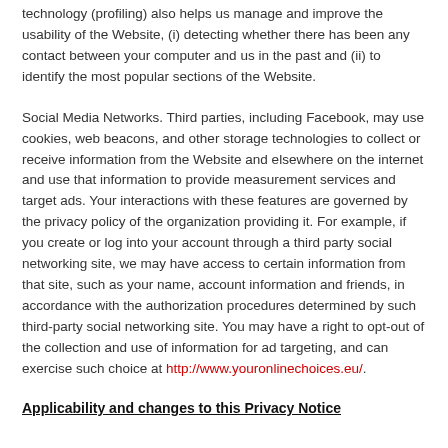technology (profiling) also helps us manage and improve the usability of the Website, (i) detecting whether there has been any contact between your computer and us in the past and (ii) to identify the most popular sections of the Website.
Social Media Networks. Third parties, including Facebook, may use cookies, web beacons, and other storage technologies to collect or receive information from the Website and elsewhere on the internet and use that information to provide measurement services and target ads. Your interactions with these features are governed by the privacy policy of the organization providing it. For example, if you create or log into your account through a third party social networking site, we may have access to certain information from that site, such as your name, account information and friends, in accordance with the authorization procedures determined by such third-party social networking site. You may have a right to opt-out of the collection and use of information for ad targeting, and can exercise such choice at http://www.youronlinechoices.eu/.
Applicability and changes to this Privacy Notice